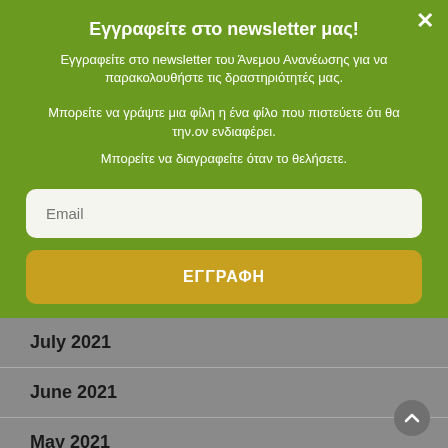Εγγραφείτε στο newsletter μας!
Εγγραφείτε στο newsletter του Άνεμου Ανανέωσης για να παρακολουθήστε τις δραστηριότητές μας.
Μπορείτε να γράψτε μια φίλη η ένα φίλο που πιστεύετε ότι θα την.ον ενδιαφέρει.
Μπορείτε να διαγραφείτε όταν το θελήσετε.
Email
ΕΓΓΡΑΦΗ
July 2021
June 2021
May 2021
April 2021